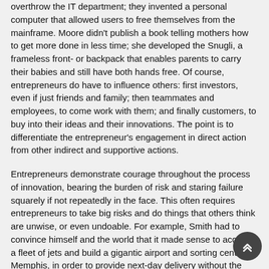overthrow the IT department; they invented a personal computer that allowed users to free themselves from the mainframe. Moore didn't publish a book telling mothers how to get more done in less time; she developed the Snugli, a frameless front- or backpack that enables parents to carry their babies and still have both hands free. Of course, entrepreneurs do have to influence others: first investors, even if just friends and family; then teammates and employees, to come work with them; and finally customers, to buy into their ideas and their innovations. The point is to differentiate the entrepreneur's engagement in direct action from other indirect and supportive actions.
Entrepreneurs demonstrate courage throughout the process of innovation, bearing the burden of risk and staring failure squarely if not repeatedly in the face. This often requires entrepreneurs to take big risks and do things that others think are unwise, or even undoable. For example, Smith had to convince himself and the world that it made sense to acquire a fleet of jets and build a gigantic airport and sorting center in Memphis, in order to provide next-day delivery without the package ever leaving FedEx's possession. He did this at a time when all of his entrenched competitors had only fleets of trucks for local pickup and delivery – they certainly didn't run airports and maintain huge numbers of aircraft.